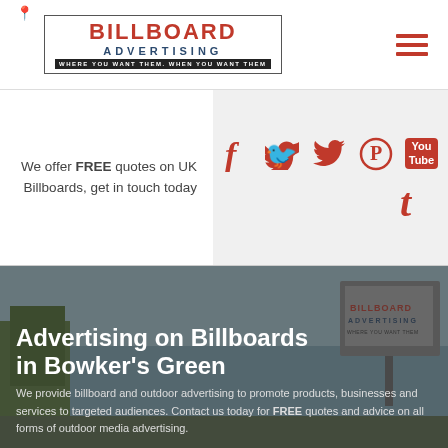[Figure (logo): Billboard Advertising logo with map pin, red BILLBOARD text, dark blue ADVERTISING subtext, tagline WHERE YOU WANT THEM. WHEN YOU WANT THEM]
[Figure (infographic): Hamburger menu icon with three red horizontal lines]
We offer FREE quotes on UK Billboards, get in touch today
[Figure (infographic): Social media icons: Facebook, Twitter, Pinterest, YouTube, Tumblr in red]
[Figure (photo): Outdoor billboard advertising sign photo with semi-transparent dark overlay]
Advertising on Billboards in Bowker's Green
We provide billboard and outdoor advertising to promote products, businesses and services to targeted audiences. Contact us today for FREE quotes and advice on all forms of outdoor media advertising.